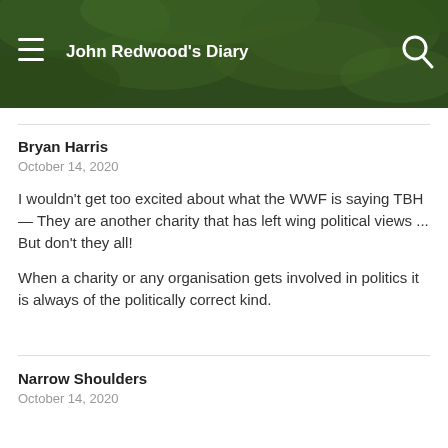John Redwood's Diary
Bryan Harris
October 14, 2020
I wouldn't get too excited about what the WWF is saying TBH — They are another charity that has left wing political views ... But don't they all!
When a charity or any organisation gets involved in politics it is always of the politically correct kind.
Narrow Shoulders
October 14, 2020